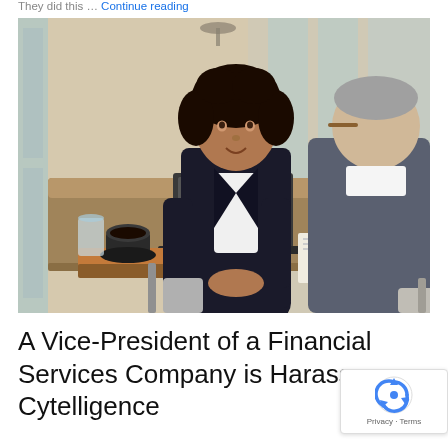They did this … Continue reading
[Figure (photo): Two business professionals in a modern conference room setting — a woman in a black blazer speaking across a table and a man in a grey suit seen from behind, with a laptop and documents on the table.]
A Vice-President of a Financial Services Company is Harass… Cytelligence